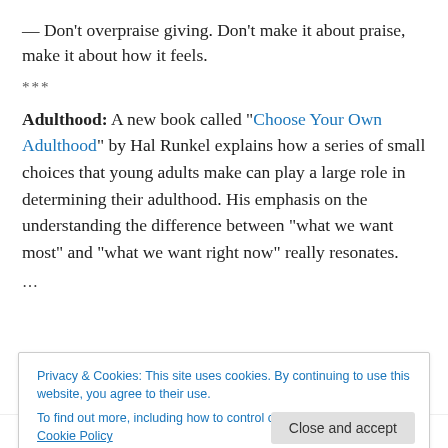— Don't overpraise giving. Don't make it about praise, make it about how it feels.
***
Adulthood: A new book called “Choose Your Own Adulthood” by Hal Runkel explains how a series of small choices that young adults make can play a large role in determining their adulthood. His emphasis on the understanding the difference between “what we want most” and “what we want right now” really resonates.
...
Privacy & Cookies: This site uses cookies. By continuing to use this website, you agree to their use.
To find out more, including how to control cookies, see here: Cookie Policy
to believe that simply eating yogurt could influence mood